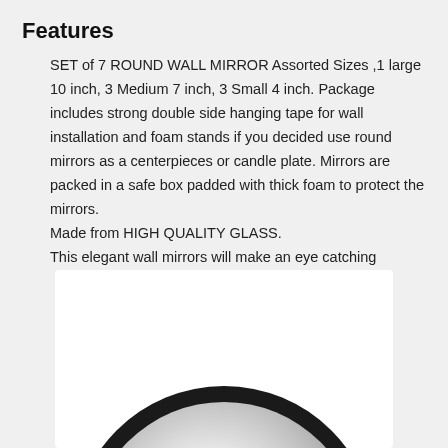Features
SET of 7 ROUND WALL MIRROR Assorted Sizes ,1 large 10 inch, 3 Medium 7 inch, 3 Small 4 inch. Package includes strong double side hanging tape for wall installation and foam stands if you decided use round mirrors as a centerpieces or candle plate. Mirrors are packed in a safe box padded with thick foam to protect the mirrors.
Made from HIGH QUALITY GLASS.
This elegant wall mirrors will make an eye catching decoration in any room.
[Figure (photo): A round wall mirror with a black frame, showing a reflective silver surface, cropped at the top of the page bottom section.]